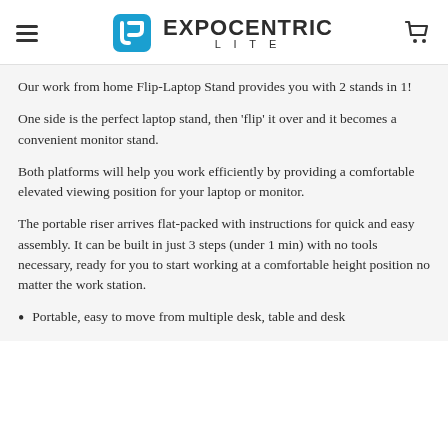EXPOCENTRIC LITE
Our work from home Flip-Laptop Stand provides you with 2 stands in 1!
One side is the perfect laptop stand, then 'flip' it over and it becomes a convenient monitor stand.
Both platforms will help you work efficiently by providing a comfortable elevated viewing position for your laptop or monitor.
The portable riser arrives flat-packed with instructions for quick and easy assembly. It can be built in just 3 steps (under 1 min) with no tools necessary, ready for you to start working at a comfortable height position no matter the work station.
Portable, easy to move from multiple desk, table and desk